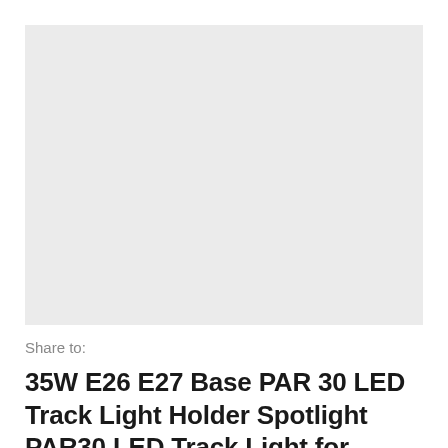[Figure (photo): Light gray rectangular image placeholder area for product photo]
Share to:
35W E26 E27 Base PAR 30 LED Track Light Holder Spotlight PAR30 LED Track Light for